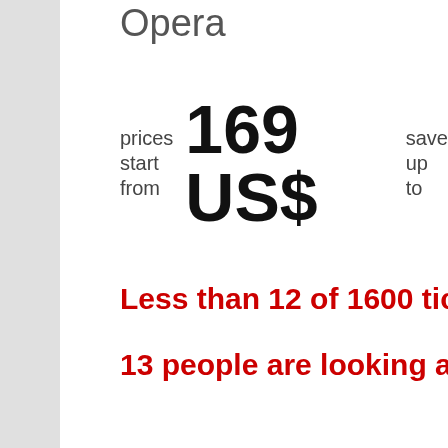Opera
prices start from   169 US$   save up to
Less than 12 of 1600 tickets left!
13 people are looking at this mom
VIEW TICKETS
[Figure (screenshot): Dark grey bar at bottom of page, partial view of lower card section]